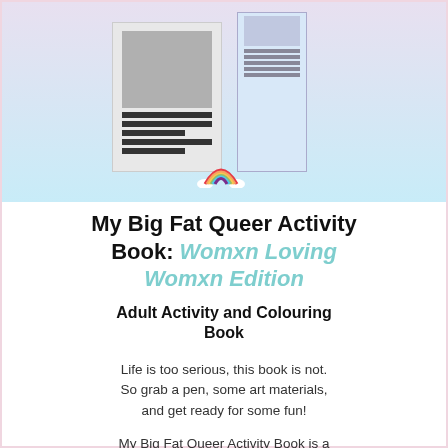[Figure (photo): Product image of My Big Fat Queer Activity Book showing book covers against a lavender-to-blue gradient background with a rainbow icon at the bottom]
My Big Fat Queer Activity Book: Womxn Loving Womxn Edition
Adult Activity and Colouring Book
Life is too serious, this book is not. So grab a pen, some art materials, and get ready for some fun!
My Big Fat Queer Activity Book is a lighthearted and enjoyable book for